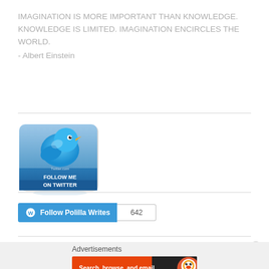IMAGINATION IS MORE IMPORTANT THAN KNOWLEDGE. KNOWLEDGE IS LIMITED. IMAGINATION ENCIRCLES THE WORLD.
- Albert Einstein
[Figure (illustration): Twitter 'Follow Me on Twitter' button with a 3D blue Twitter bird on a blue/grey background, text reads 'FOLLOW ME ON TWITTER']
[Figure (illustration): WordPress 'Follow Polilla Writes' button in blue with WordPress logo icon, and a count badge showing 642]
Advertisements
[Figure (screenshot): DuckDuckGo advertisement banner: orange/red left side reads 'Search, browse, and email with more privacy. All in One Free App', dark right side shows DuckDuckGo logo]